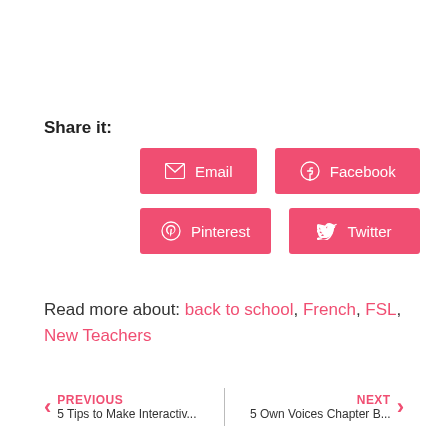Share it:
[Figure (other): Social share buttons: Email, Facebook, Pinterest, Twitter]
Read more about: back to school, French, FSL, New Teachers
PREVIOUS 5 Tips to Make Interactiv...
NEXT 5 Own Voices Chapter B...